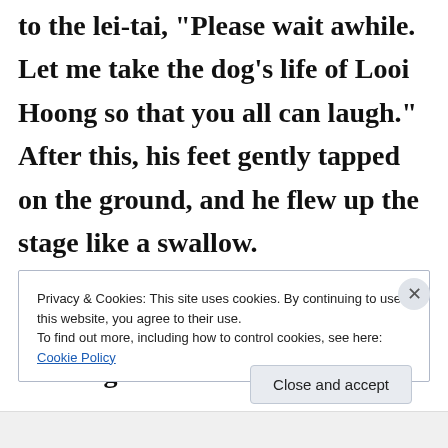to the lei-tai, "Please wait awhile. Let me take the dog's life of Looi Hoong so that you all can laugh." After this, his feet gently tapped on the ground, and he flew up the stage like a swallow.

Looi Hoong saw that the challenger was
Privacy & Cookies: This site uses cookies. By continuing to use this website, you agree to their use.
To find out more, including how to control cookies, see here: Cookie Policy
Close and accept